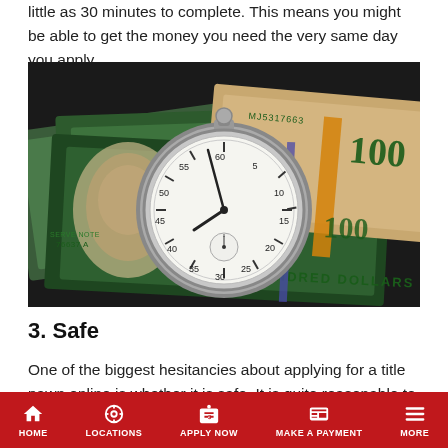little as 30 minutes to complete. This means you might be able to get the money you need the very same day you apply.
[Figure (photo): A pocket stopwatch resting on top of US $100 dollar bills, symbolizing fast loan processing time.]
3. Safe
One of the biggest hesitancies about applying for a title pawn online is whether it is safe. It is quite reasonable to consider this
HOME  LOCATIONS  APPLY NOW  MAKE A PAYMENT  MORE